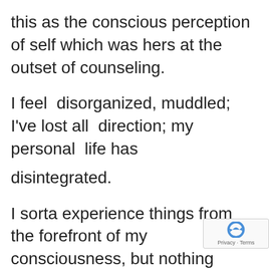this as the conscious perception of self which was hers at the outset of counseling.

I feel  disorganized, muddled; I've lost all  direction; my personal  life has

disintegrated.

I sorta experience things from the forefront of my consciousness, but nothing

sinks in very deep; things don't se... real to me; I feel nothing matters; I...